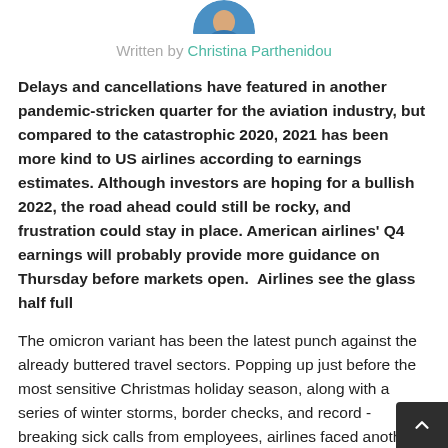[Figure (photo): Circular avatar/headshot photo of author Christina Parthenidou, showing a person in a blue top, cropped as a circle at top of page]
Written by Christina Parthenidou
Delays and cancellations have featured in another pandemic-stricken quarter for the aviation industry, but compared to the catastrophic 2020, 2021 has been more kind to US airlines according to earnings estimates. Although investors are hoping for a bullish 2022, the road ahead could still be rocky, and frustration could stay in place. American airlines' Q4 earnings will probably provide more guidance on Thursday before markets open.  Airlines see the glass half full
The omicron variant has been the latest punch against the already buttered travel sectors. Popping up just before the most sensitive Christmas holiday season, along with a series of winter storms, border checks, and record - breaking sick calls from employees, airlines faced another huge setback in operations in America at the end of 20... The hiring process has been even more puzzling. Despi...